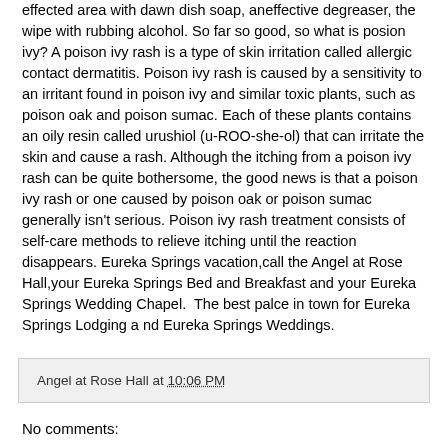effected area with dawn dish soap, aneffective degreaser, the wipe with rubbing alcohol. So far so good, so what is posion ivy? A poison ivy rash is a type of skin irritation called allergic contact dermatitis. Poison ivy rash is caused by a sensitivity to an irritant found in poison ivy and similar toxic plants, such as poison oak and poison sumac. Each of these plants contains an oily resin called urushiol (u-ROO-she-ol) that can irritate the skin and cause a rash. Although the itching from a poison ivy rash can be quite bothersome, the good news is that a poison ivy rash or one caused by poison oak or poison sumac generally isn't serious. Poison ivy rash treatment consists of self-care methods to relieve itching until the reaction disappears. Eureka Springs vacation,call the Angel at Rose Hall,your Eureka Springs Bed and Breakfast and your Eureka Springs Wedding Chapel.  The best palce in town for Eureka Springs Lodging a nd Eureka Springs Weddings.
Angel at Rose Hall at 10:06 PM
No comments: